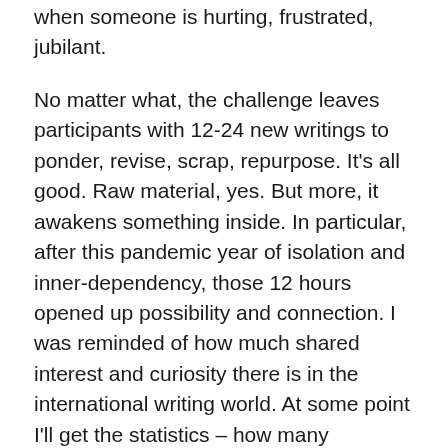when someone is hurting, frustrated, jubilant.
No matter what, the challenge leaves participants with 12-24 new writings to ponder, revise, scrap, repurpose. It's all good. Raw material, yes. But more, it awakens something inside. In particular, after this pandemic year of isolation and inner-dependency, those 12 hours opened up possibility and connection. I was reminded of how much shared interest and curiosity there is in the international writing world. At some point I'll get the statistics – how many participated from how many countries. For now, I am basking in the microcosm of lives shared on my tiny computer screen, spanning the globe, time zones, ages and every/anything else you can name. We shared favorite snacks, music selections, memes, tears, side stories, background stories, what was working and what was not, photos of our space or view or first draft … All of